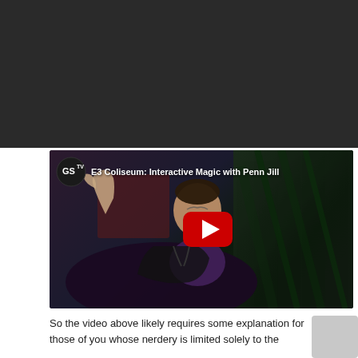[Figure (screenshot): Dark header bar at top of webpage]
[Figure (screenshot): YouTube video thumbnail showing a man in a sparkly black jacket gesturing with raised hand on stage. Video title: 'E3 Coliseum: Interactive Magic with Penn Jill...' with GameSpot TV (GSTV) logo. Red YouTube play button in center.]
So the video above likely requires some explanation for those of you whose nerdery is limited solely to the